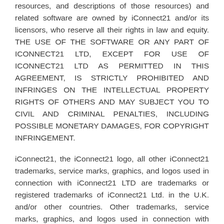resources, and descriptions of those resources) and related software are owned by iConnect21 and/or its licensors, who reserve all their rights in law and equity. THE USE OF THE SOFTWARE OR ANY PART OF iCONNECT21 LTD, EXCEPT FOR USE OF iCONNECT21 LTD AS PERMITTED IN THIS AGREEMENT, IS STRICTLY PROHIBITED AND INFRINGES ON THE INTELLECTUAL PROPERTY RIGHTS OF OTHERS AND MAY SUBJECT YOU TO CIVIL AND CRIMINAL PENALTIES, INCLUDING POSSIBLE MONETARY DAMAGES, FOR COPYRIGHT INFRINGEMENT.
iConnect21, the iConnect21 logo, all other iConnect21 trademarks, service marks, graphics, and logos used in connection with iConnect21 LTD are trademarks or registered trademarks of iConnect21 Ltd. in the U.K. and/or other countries. Other trademarks, service marks, graphics, and logos used in connection with iConnect21. Services may be the trademarks of their respective owners. You are granted no right